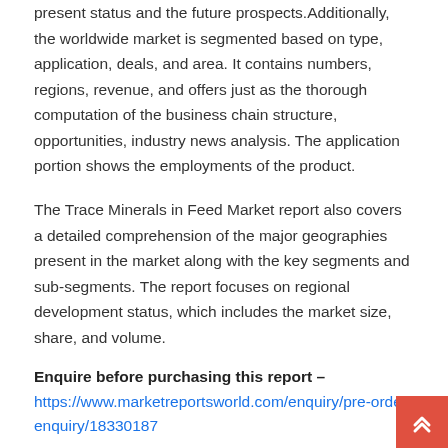present status and the future prospects.Additionally, the worldwide market is segmented based on type, application, deals, and area. It contains numbers, regions, revenue, and offers just as the thorough computation of the business chain structure, opportunities, industry news analysis. The application portion shows the employments of the product.
The Trace Minerals in Feed Market report also covers a detailed comprehension of the major geographies present in the market along with the key segments and sub-segments. The report focuses on regional development status, which includes the market size, share, and volume.
Enquire before purchasing this report –
https://www.marketreportsworld.com/enquiry/pre-order-enquiry/18330187
About Trace Minerals in Feed Market: